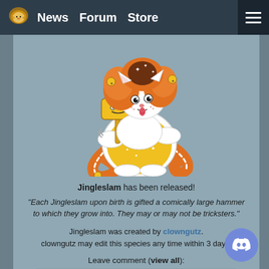News  Forum  Store
[Figure (illustration): A cartoon character called Jingleslam: a white, chubby creature with orange curly hair and an orange striped tail, wearing a yellow patterned dress/tunic, holding a large yellow toy hammer with a rectangular head. The character has cat-like ears and is smiling with tongue out. Sparkle marks decorate the outfit and tail.]
Jingleslam has been released!
"Each Jingleslam upon birth is gifted a comically large hammer to which they grow into. They may or may not be tricksters."
Jingleslam was created by clowngutz.
clowngutz may edit this species any time within 3 days.
Leave comment (view all):